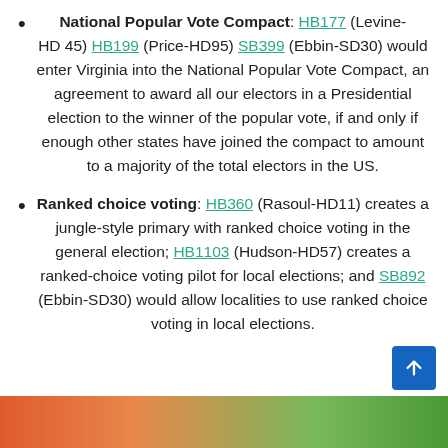National Popular Vote Compact: HB177 (Levine-HD45) HB199 (Price-HD95) SB399 (Ebbin-SD30) would enter Virginia into the National Popular Vote Compact, an agreement to award all our electors in a Presidential election to the winner of the popular vote, if and only if enough other states have joined the compact to amount to a majority of the total electors in the US.
Ranked choice voting: HB360 (Rasoul-HD11) creates a jungle-style primary with ranked choice voting in the general election; HB1103 (Hudson-HD57) creates a ranked-choice voting pilot for local elections; and SB892 (Ebbin-SD30) would allow localities to use ranked choice voting in local elections.
[Figure (photo): Partial photo strip at the bottom of the page showing outdoor scene with warm red/orange tones on the left and green foliage on the right.]